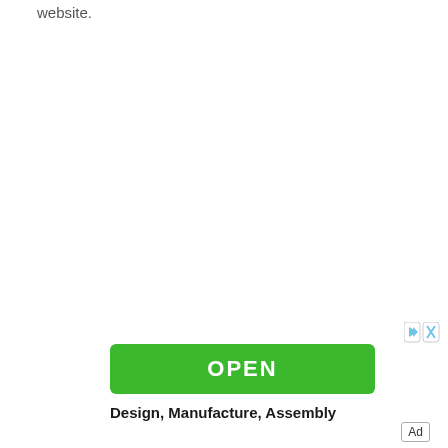website.
[Figure (other): Advertisement banner with a green OPEN button and ad controls (play/close icons). Below the button is bold text: Design, Manufacture, Assembly. An 'Ad' label appears in the bottom right corner.]